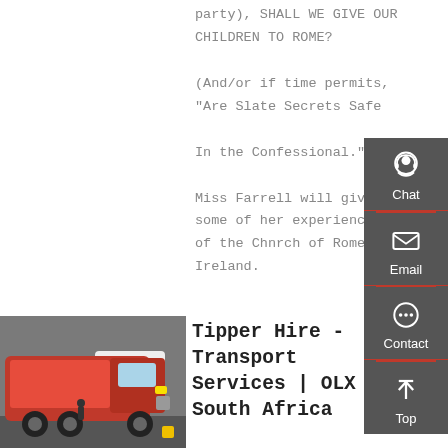party), SHALL WE GIVE OUR CHILDREN TO ROME? (And/or if time permits, "Are Slate Secrets Safe In the Confessional.") Miss Farrell will give some of her experiences of the Chnrch of Rome In Ireland.
[Figure (other): Orange button labeled 'Get a Quote']
[Figure (other): Dark grey sidebar with Chat (headset icon), Email (envelope icon), Contact (chat bubble icon), and Top (up arrow icon) buttons]
[Figure (photo): Photo of a red Sinotruk HOWO tipper/dump truck parked outdoors]
Tipper Hire - Transport Services | OLX South Africa